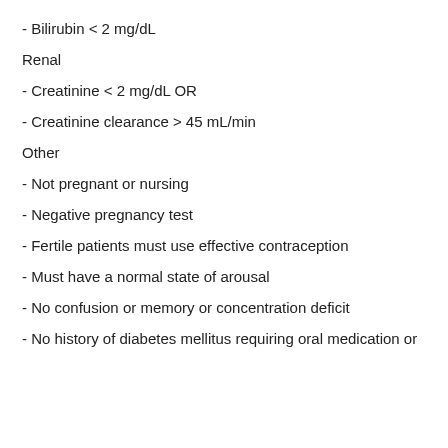- Bilirubin < 2 mg/dL
Renal
- Creatinine < 2 mg/dL OR
- Creatinine clearance > 45 mL/min
Other
- Not pregnant or nursing
- Negative pregnancy test
- Fertile patients must use effective contraception
- Must have a normal state of arousal
- No confusion or memory or concentration deficit
- No history of diabetes mellitus requiring oral medication or insulin treatment